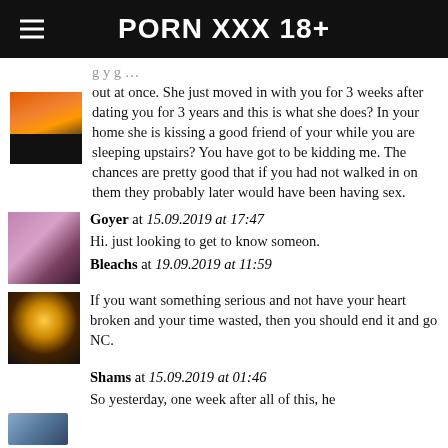PORN XXX 18+
out at once. She just moved in with you for 3 weeks after dating you for 3 years and this is what she does? In your home she is kissing a good friend of your while you are sleeping upstairs? You have got to be kidding me. The chances are pretty good that if you had not walked in on them they probably later would have been having sex.
Goyer at 15.09.2019 at 17:47
Hi. just looking to get to know someon.
Bleachs at 19.09.2019 at 11:59
If you want something serious and not have your heart broken and your time wasted, then you should end it and go NC.
Shams at 15.09.2019 at 01:46
So yesterday, one week after all of this, he